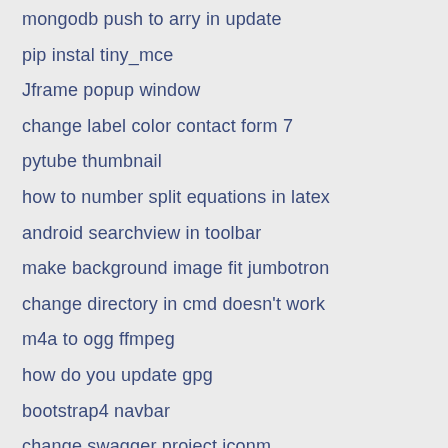mongodb push to arry in update
pip instal tiny_mce
Jframe popup window
change label color contact form 7
pytube thumbnail
how to number split equations in latex
android searchview in toolbar
make background image fit jumbotron
change directory in cmd doesn't work
m4a to ogg ffmpeg
how do you update gpg
bootstrap4 navbar
change swagger project iconm